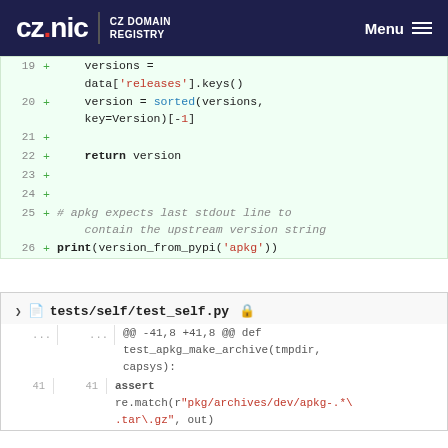CZ.NIC CZ DOMAIN REGISTRY   Menu
[Figure (screenshot): Code diff showing Python lines 19-26 with green background. Lines show: versions = data['releases'].keys(), version = sorted(versions, key=Version)[-1], blank lines, return version, blank lines, # apkg expects last stdout line to contain the upstream version string, print(version_from_pypi('apkg'))]
[Figure (screenshot): File header bar: tests/self/test_self.py with collapse chevron and copy icon]
[Figure (screenshot): Code diff for tests/self/test_self.py showing @@ -41,8 +41,8 @@ def test_apkg_make_archive(tmpdir, capsys): with line 41 showing: assert re.match(r"pkg/archives/dev/apkg-.*\.tar\.gz", out)]